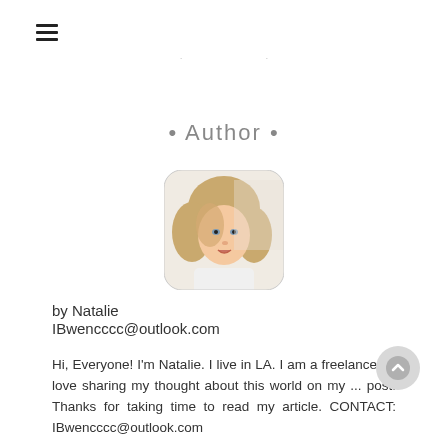≡
• Author •
[Figure (photo): Rounded square photo of a young blonde girl with curly hair, looking at camera with mouth slightly open, wearing a white top, light background.]
by Natalie
IBwencccc@outlook.com
Hi, Everyone! I'm Natalie. I live in LA. I am a freelance... I love sharing my thought about this world on my ... post. Thanks for taking time to read my article. CONTACT: IBwencccc@outlook.com